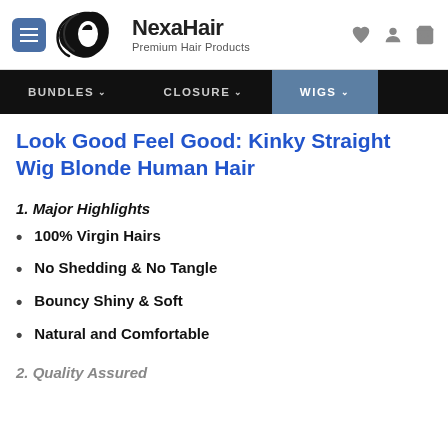NexaHair — Premium Hair Products (site header with navigation)
Look Good Feel Good: Kinky Straight Wig Blonde Human Hair
1. Major Highlights
100% Virgin Hairs
No Shedding & No Tangle
Bouncy Shiny & Soft
Natural and Comfortable
2. Quality Assured